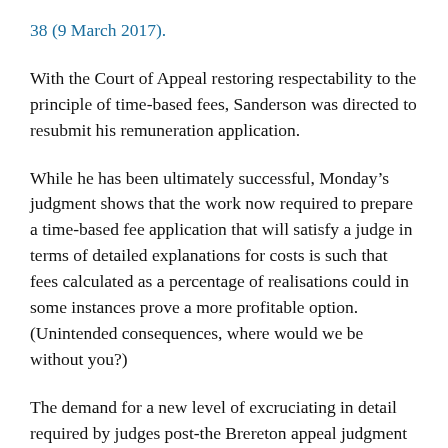38 (9 March 2017).
With the Court of Appeal restoring respectability to the principle of time-based fees, Sanderson was directed to resubmit his remuneration application.
While he has been ultimately successful, Monday’s judgment shows that the work now required to prepare a time-based fee application that will satisfy a judge in terms of detailed explanations for costs is such that fees calculated as a percentage of realisations could in some instances prove a more profitable option. (Unintended consequences, where would we be without you?)
The demand for a new level of excruciating in detail required by judges post-the Brereton appeal judgment can be seen in Justice Black’s